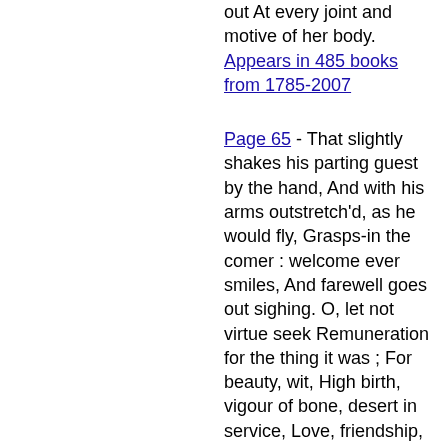out At every joint and motive of her body. Appears in 485 books from 1785-2007
Page 65 - That slightly shakes his parting guest by the hand, And with his arms outstretch'd, as he would fly, Grasps-in the comer : welcome ever smiles, And farewell goes out sighing. O, let not virtue seek Remuneration for the thing it was ; For beauty, wit, High birth, vigour of bone, desert in service, Love, friendship, charity, are subjects all To envious and calumniating time. One touch of nature makes